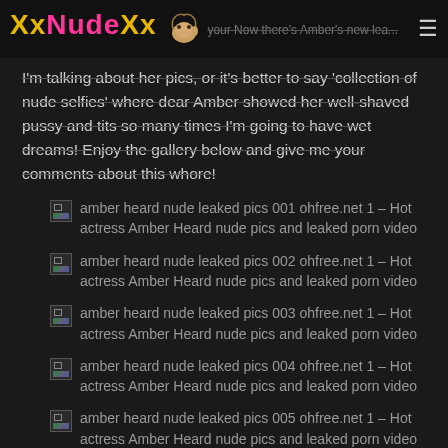XxNudeXx
I'm talking about her pics, or it's better to say 'collection of nude selfies' where dear Amber showed her well-shaved pussy and tits so many times I'm going to have wet dreams! Enjoy the gallery below and give me your comments about this whore!
amber heard nude leaked pics 001 ohfree.net 1 – Hot actress Amber Heard nude pics and leaked porn video
amber heard nude leaked pics 002 ohfree.net 1 – Hot actress Amber Heard nude pics and leaked porn video
amber heard nude leaked pics 003 ohfree.net 1 – Hot actress Amber Heard nude pics and leaked porn video
amber heard nude leaked pics 004 ohfree.net 1 – Hot actress Amber Heard nude pics and leaked porn video
amber heard nude leaked pics 005 ohfree.net 1 – Hot actress Amber Heard nude pics and leaked porn video
amber heard nude leaked pics 006 ohfree.net 1 – Hot actress Amber Heard nude pics and leaked porn video